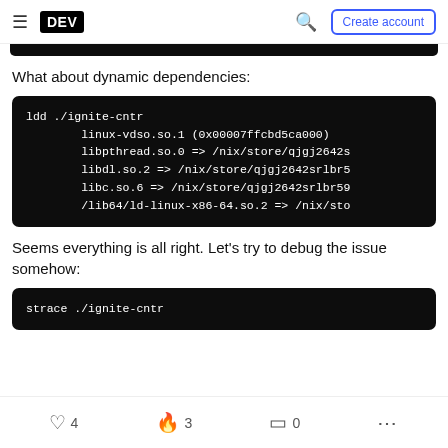DEV — Create account
What about dynamic dependencies:
ldd ./ignite-cntr
        linux-vdso.so.1 (0x00007ffcbd5ca000)
        libpthread.so.0 => /nix/store/qjgj2642s
        libdl.so.2 => /nix/store/qjgj2642srlbr5
        libc.so.6 => /nix/store/qjgj2642srlbr59
        /lib64/ld-linux-x86-64.so.2 => /nix/sto
Seems everything is all right. Let's try to debug the issue somehow:
strace ./ignite-cntr
4   3   0   ...